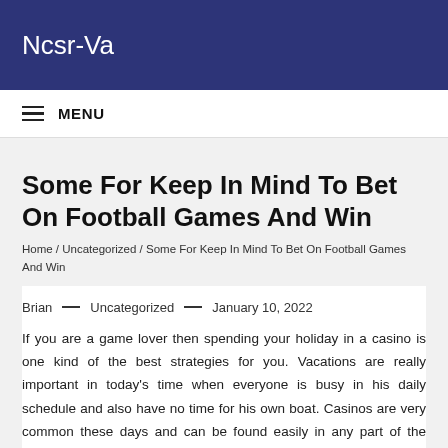Ncsr-Va
Some For Keep In Mind To Bet On Football Games And Win
Home / Uncategorized / Some For Keep In Mind To Bet On Football Games And Win
Brian — Uncategorized — January 10, 2022
If you are a game lover then spending your holiday in a casino is one kind of the best strategies for you. Vacations are really important in today's time when everyone is busy in his daily schedule and also have no time for his own boat. Casinos are very common these days and can be found easily in any part of the world. You should look for the closest casino at your place and enjoy the games out there so as lessen your stress. You'll have a great possibility of winning money at casinos